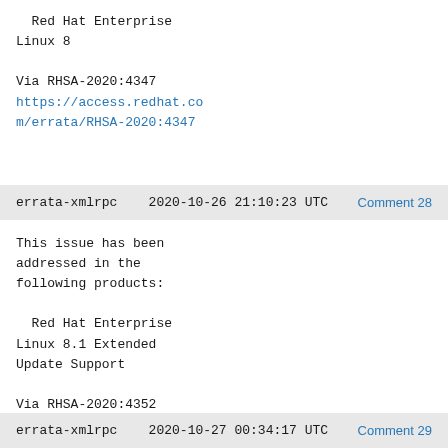Red Hat Enterprise Linux 8

Via RHSA-2020:4347
https://access.redhat.com/errata/RHSA-2020:4347
errata-xmlrpc   2020-10-26 21:10:23 UTC   Comment 28
This issue has been addressed in the following products:

  Red Hat Enterprise Linux 8.1 Extended Update Support

Via RHSA-2020:4352
https://access.redhat.com/errata/RHSA-2020:4352
errata-xmlrpc   2020-10-27 00:34:17 UTC   Comment 29